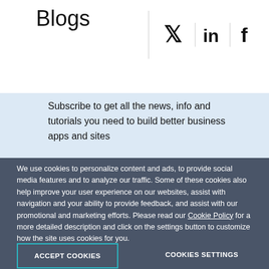Blogs
[Figure (illustration): Social media icons: Twitter (bird), LinkedIn (in), Facebook (f)]
Subscribe to get all the news, info and tutorials you need to build better business apps and sites
Email *
Country/Territory *
Select country/territory
We use cookies to personalize content and ads, to provide social media features and to analyze our traffic. Some of these cookies also help improve your user experience on our websites, assist with navigation and your ability to provide feedback, and assist with our promotional and marketing efforts. Please read our Cookie Policy for a more detailed description and click on the settings button to customize how the site uses cookies for you.
ACCEPT COOKIES
COOKIES SETTINGS